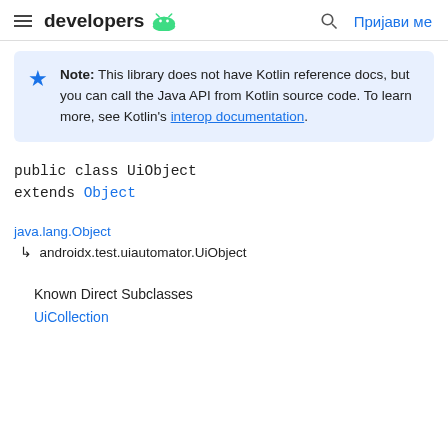developers | Search | Пријави ме
Note: This library does not have Kotlin reference docs, but you can call the Java API from Kotlin source code. To learn more, see Kotlin's interop documentation.
public class UiObject
extends Object
java.lang.Object
↳ androidx.test.uiautomator.UiObject
Known Direct Subclasses
UiCollection